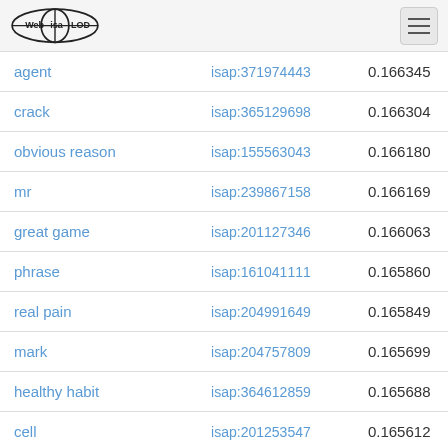Web isa LOD
| agent | isap:371974443 | 0.166345 |
| crack | isap:365129698 | 0.166304 |
| obvious reason | isap:155563043 | 0.166180 |
| mr | isap:239867158 | 0.166169 |
| great game | isap:201127346 | 0.166063 |
| phrase | isap:161041111 | 0.165860 |
| real pain | isap:204991649 | 0.165849 |
| mark | isap:204757809 | 0.165699 |
| healthy habit | isap:364612859 | 0.165688 |
| cell | isap:201253547 | 0.165612 |
| of blooding | isap:399029574 | 0.165297 |